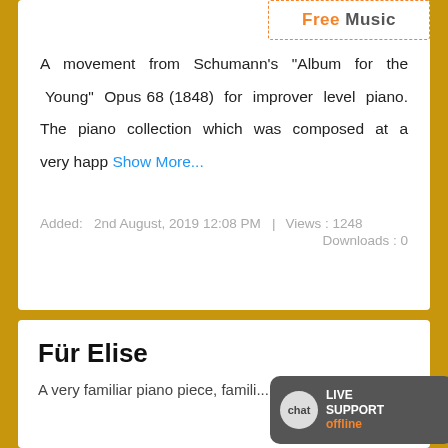Free Music
A movement from Schumann's “Album for the Young” Opus 68 (1848) for improver level piano. The piano collection which was composed at a very happ Show More...
Added: 2nd August, 2019 12:08 PM | Views : 1248 Downloads : 0
Für Elise
A very familiar piano piece, famili...